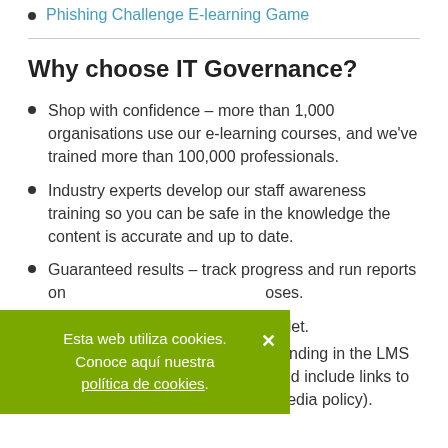Phishing Challenge E-learning Game
Why choose IT Governance?
Shop with confidence – more than 1,000 organisations use our e-learning courses, and we've trained more than 100,000 professionals.
Industry experts develop our staff awareness training so you can be safe in the knowledge the content is accurate and up to date.
Guaranteed results – track progress and run reports on completion for auditing purposes.
compatible with any device, and tablet.
ence by adding your company branding in the LMS (learning management system) and include links to relevant documents (e.g. social media policy).
Esta web utiliza cookies. Conoce aquí nuestra política de cookies.